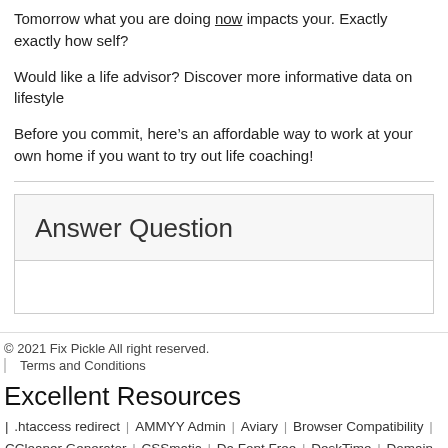Tomorrow what you are doing now impacts your. Exactly exactly how self?
Would like a life advisor? Discover more informative data on lifestyle
Before you commit, here’s an affordable way to work at your own home if you want to try out life coaching!
Answer Question
© 2021 Fix Pickle All right reserved.
Terms and Conditions
Excellent Resources
.htaccess redirect | AMMYY Admin | Aviary | Browser Compatibility | CCleaner Generator | CSSmatic | Da Font Free | DeskTime | Domain Tools | Double Drive | Freemake Video Downloader | Gantto | Google Webmaster Tools | Greeking M...